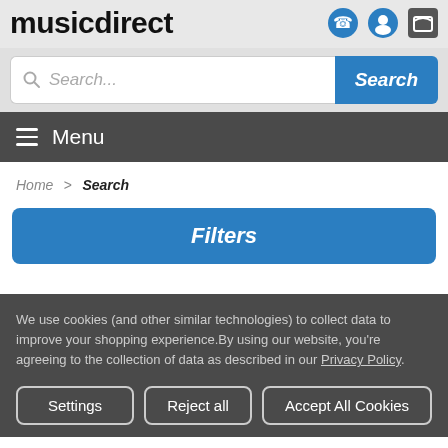musicdirect
Search...
Menu
Home > Search
Filters
We use cookies (and other similar technologies) to collect data to improve your shopping experience.By using our website, you're agreeing to the collection of data as described in our Privacy Policy.
Settings
Reject all
Accept All Cookies